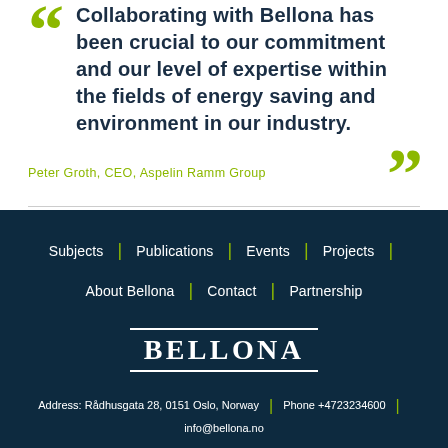Collaborating with Bellona has been crucial to our commitment and our level of expertise within the fields of energy saving and environment in our industry.
Peter Groth, CEO, Aspelin Ramm Group
Subjects | Publications | Events | Projects | About Bellona | Contact | Partnership
[Figure (logo): Bellona logo with text BELLONA in serif font with top and bottom borders]
Address: Rådhusgata 28, 0151 Oslo, Norway | Phone +4723234600 | info@bellona.no